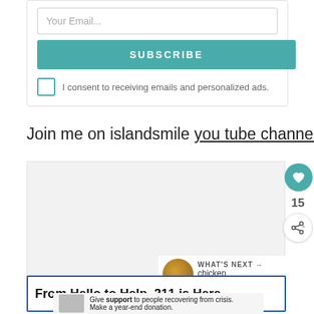[Figure (screenshot): Email subscription form with 'Your Email...' input field, teal SUBSCRIBE button, and consent checkbox saying 'I consent to receiving emails and personalized ads.']
Join me on islandsmile you tube channel.
[Figure (screenshot): Embedded YouTube video player area (blank/loading), with a teal heart/like button showing 15 likes and a share button on the right side overlay.]
WHAT'S NEXT → chicken masala...
From Hello to Help, 211 is Here
Give support to people recovering from crisis. Make a year-end donation.